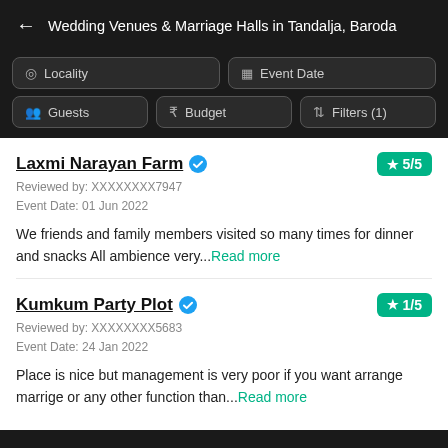Wedding Venues & Marriage Halls in Tandalja, Baroda
Locality
Event Date
Guests
Budget
Filters (1)
Laxmi Narayan Farm
Reviewed by: XXXXXXXX7947
Event Date: 01 Jun 2022
We friends and family members visited so many times for dinner and snacks All ambience very...Read more
Kumkum Party Plot
Reviewed by: XXXXXXXX5683
Event Date: 24 Jan 2022
Place is nice but management is very poor if you want arrange marrige or any other function than...Read more